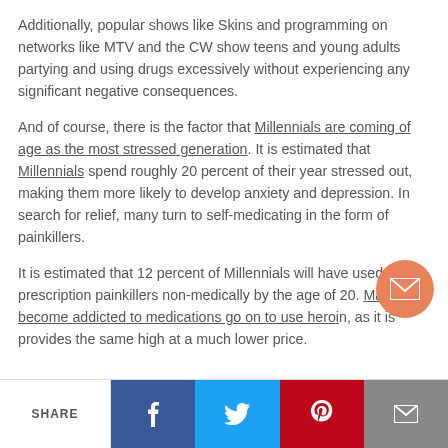Additionally, popular shows like Skins and programming on networks like MTV and the CW show teens and young adults partying and using drugs excessively without experiencing any significant negative consequences.
And of course, there is the factor that Millennials are coming of age as the most stressed generation. It is estimated that Millennials spend roughly 20 percent of their year stressed out, making them more likely to develop anxiety and depression. In search for relief, many turn to self-medicating in the form of painkillers.
It is estimated that 12 percent of Millennials will have used prescription painkillers non-medically by the age of 20. Many who become addicted to medications go on to use heroin, as it is provides the same high at a much lower price.
SHARE — Facebook, Twitter, Pinterest, Email